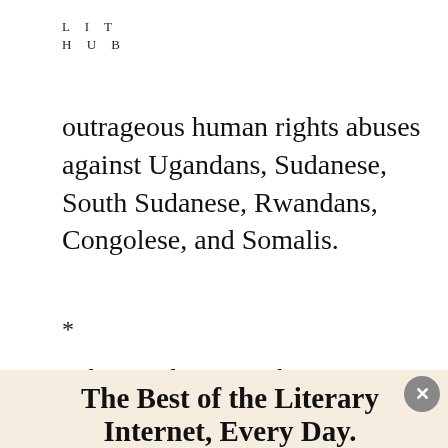LIT
HUB
outrageous human rights abuses against Ugandans, Sudanese, South Sudanese, Rwandans, Congolese, and Somalis.
*
What explains Washington's infatuation with
[Figure (screenshot): Popup modal overlay with cream/beige background containing newsletter signup. Title: 'The Best of the Literary Internet, Every Day.' Subtitle: 'Top literature stories from over 200 sources.' Email input field with Subscribe button in dark red. Close button (X) in gray circle top right.]